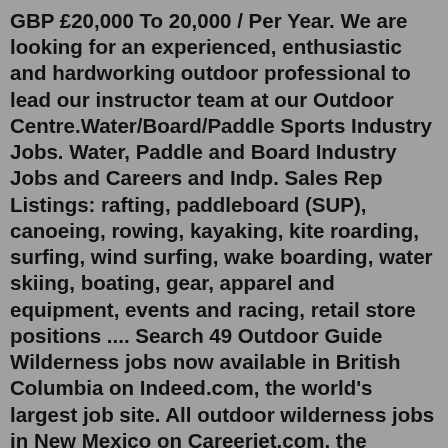GBP £20,000 To 20,000 / Per Year. We are looking for an experienced, enthusiastic and hardworking outdoor professional to lead our instructor team at our Outdoor Centre.Water/Board/Paddle Sports Industry Jobs. Water, Paddle and Board Industry Jobs and Careers and Indp. Sales Rep Listings: rafting, paddleboard (SUP), canoeing, rowing, kayaking, kite roarding, surfing, wind surfing, wake boarding, water skiing, boating, gear, apparel and equipment, events and racing, retail store positions .... Search 49 Outdoor Guide Wilderness jobs now available in British Columbia on Indeed.com, the world's largest job site. All outdoor wilderness jobs in New Mexico on Careerjet.com, the search engine for jobs in the USA2,986 Wilderness jobs available on Indeed.com. Apply to Instructor, Crew Member, ... Nantahala Outdoor Center (35) Embry-Riddle (35) Snow Peak USA (32) Discover the latest conservation jobs and internships Aug 01 - Colorado Alliance for Environmental Education hiring eeCorps OWL Instructor (Outdoor Wilderness Job) in Gat...